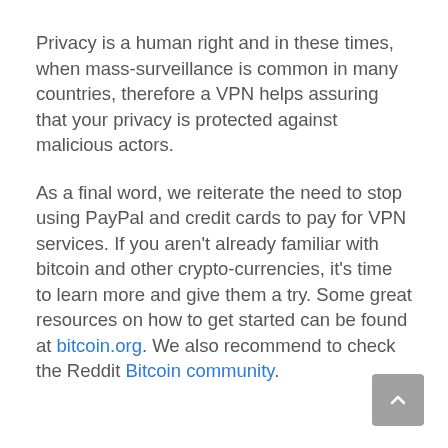Privacy is a human right and in these times, when mass-surveillance is common in many countries, therefore a VPN helps assuring that your privacy is protected against malicious actors.
As a final word, we reiterate the need to stop using PayPal and credit cards to pay for VPN services. If you aren't already familiar with bitcoin and other crypto-currencies, it's time to learn more and give them a try. Some great resources on how to get started can be found at bitcoin.org. We also recommend to check the Reddit Bitcoin community.